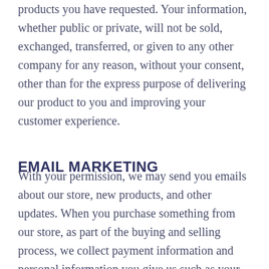personally identifiable information to deliver the products you have requested. Your information, whether public or private, will not be sold, exchanged, transferred, or given to any other company for any reason, without your consent, other than for the express purpose of delivering our product to you and improving your customer experience.
EMAIL MARKETING
With your permission, we may send you emails about our store, new products, and other updates. When you purchase something from our store, as part of the buying and selling process, we collect payment information and personal information you give us such as your